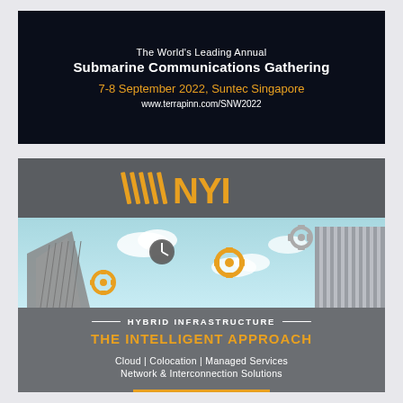[Figure (infographic): Top dark navy banner for Submarine Networks World 2022 conference advertisement]
The World's Leading Annual
Submarine Communications Gathering
7-8 September 2022, Suntec Singapore
www.terrapinn.com/SNW2022
[Figure (infographic): NYI advertisement banner showing logo, city buildings illustration with clouds and gears, and text about Hybrid Infrastructure]
HYBRID INFRASTRUCTURE
THE INTELLIGENT APPROACH
Cloud | Colocation | Managed Services
Network & Interconnection Solutions
LEARN MORE